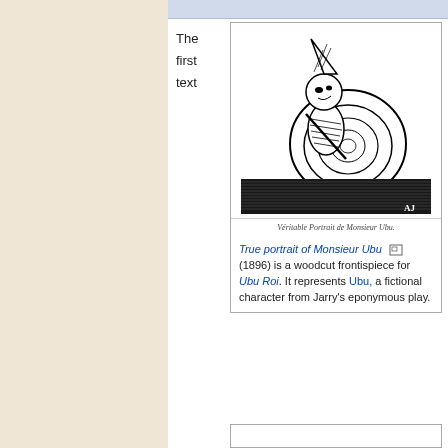The first text
[Figure (illustration): Woodcut illustration of Ubu, a fictional character – a rotund snail-like figure with a pointed hat, standing on a dark hatched ground. Caption beneath image reads: Véritable Portrait de Monsieur Ubu.]
True portrait of Monsieur Ubu (1896) is a woodcut frontispiece for Ubu Roi. It represents Ubu, a fictional character from Jarry's eponymous play.